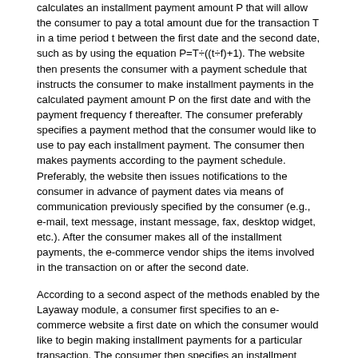calculates an installment payment amount P that will allow the consumer to pay a total amount due for the transaction T in a time period t between the first date and the second date, such as by using the equation P=T÷((t÷f)+1). The website then presents the consumer with a payment schedule that instructs the consumer to make installment payments in the calculated payment amount P on the first date and with the payment frequency f thereafter. The consumer preferably specifies a payment method that the consumer would like to use to pay each installment payment. The consumer then makes payments according to the payment schedule. Preferably, the website then issues notifications to the consumer in advance of payment dates via means of communication previously specified by the consumer (e.g., e-mail, text message, instant message, fax, desktop widget, etc.). After the consumer makes all of the installment payments, the e-commerce vendor ships the items involved in the transaction on or after the second date.
According to a second aspect of the methods enabled by the Layaway module, a consumer first specifies to an e-commerce website a first date on which the consumer would like to begin making installment payments for a particular transaction. The consumer then specifies an installment payment amount P that the consumer would like to pay for each installment payment. The consumer then specifies a payment frequency f with which the consumer would like to make installment payments. The website then calculates an amount of time t it will take for the consumer to pay a total